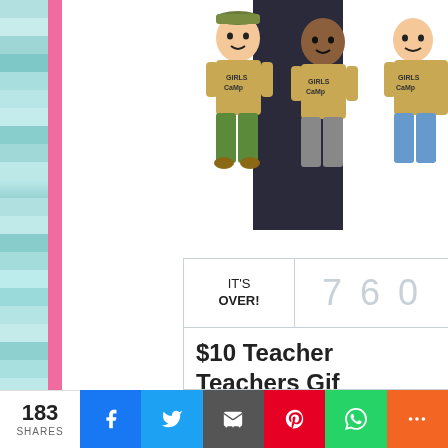[Figure (illustration): Cartoon illustration of children wearing 'Girls Camp' t-shirts, partially cropped at right edge]
IT'S OVER!
760
$10 Teachers Gift
183 SHARES
[Figure (infographic): Social sharing bar with Facebook, Twitter, Email, Pinterest, WhatsApp, and More buttons]